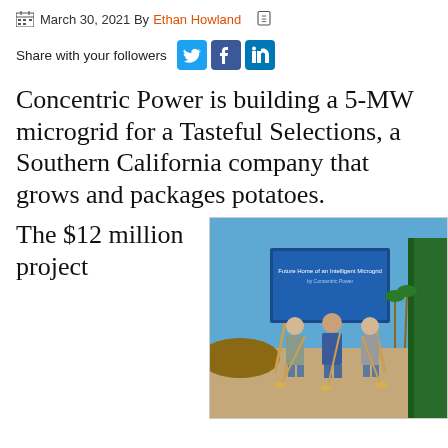March 30, 2021 By Ethan Howland
Share with your followers
Concentric Power is building a 5-MW microgrid for a Tasteful Selections, a Southern California company that grows and packages potatoes.
The $12 million project
[Figure (photo): Three men in business casual attire holding golden shovels at a groundbreaking ceremony in front of a sign reading 'Future Home of an Intelligent Microgrid by Concentric Power']